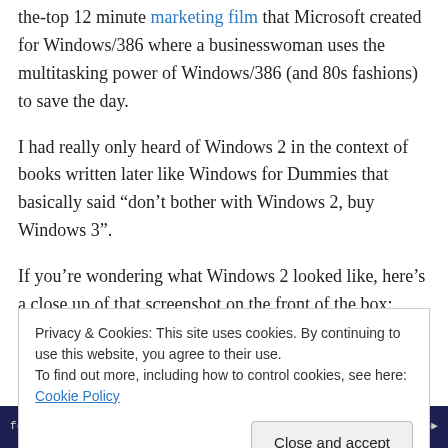the-top 12 minute marketing film that Microsoft created for Windows/386 where a businesswoman uses the multitasking power of Windows/386 (and 80s fashions) to save the day.
I had really only heard of Windows 2 in the context of books written later like Windows for Dummies that basically said “don’t bother with Windows 2, buy Windows 3”.
If you’re wondering what Windows 2 looked like, here’s a close up of that screenshot on the front of the box:
Privacy & Cookies: This site uses cookies. By continuing to use this website, you agree to their use. To find out more, including how to control cookies, see here: Cookie Policy
[Figure (screenshot): A screenshot of what appears to be a Windows 2 desktop interface shown at the bottom of the page, with dark background and menu bar elements visible]